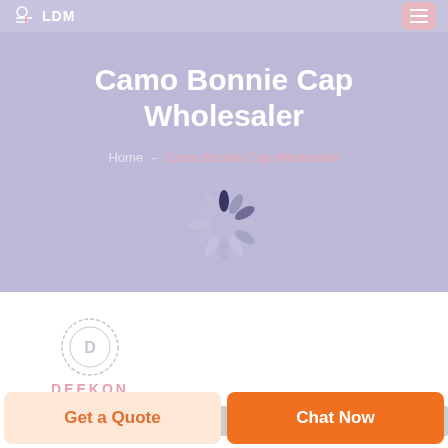LDM
Camo Bonnie Cap Wholesaler
Home - Camo Bonnie Cap Wholesaler
[Figure (illustration): Loading spinner graphic with teardrop-shaped segments arranged in a circle, alternating dark and light gray segments]
[Figure (logo): DEEKON logo with circular D emblem and DEEKON text in pink below]
[Figure (photo): Partial product image strip at bottom of content area]
Get a Quote
Chat Now